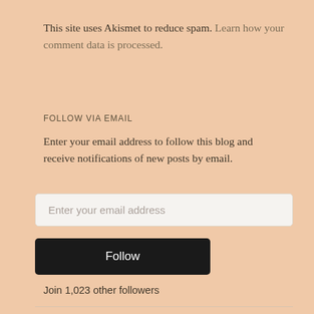This site uses Akismet to reduce spam. Learn how your comment data is processed.
FOLLOW VIA EMAIL
Enter your email address to follow this blog and receive notifications of new posts by email.
Enter your email address
Follow
Join 1,023 other followers